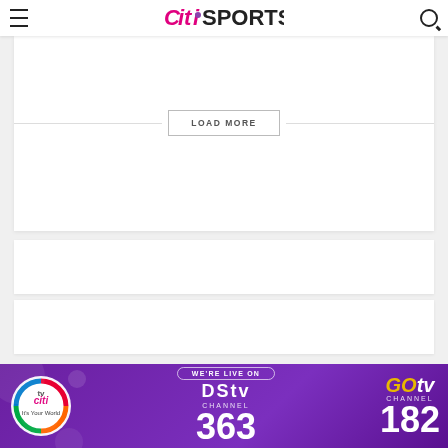Citi Sports
[Figure (photo): Partial image of a sports scene at top of page]
LOAD MORE
[Figure (infographic): DStv Channel 363 / GOtv Channel 182 advertisement banner with Citi TV logo and purple background]